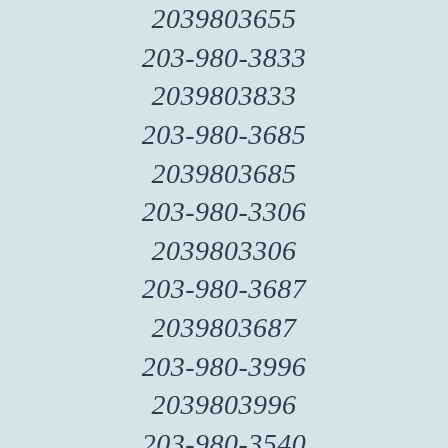2039803655
203-980-3833
2039803833
203-980-3685
2039803685
203-980-3306
2039803306
203-980-3687
2039803687
203-980-3996
2039803996
203-980-3540
2039803540
203-980-3646
2039803646
203-980-3443